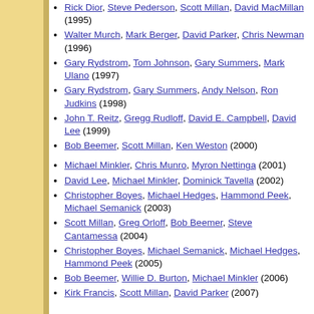Rick Dior, Steve Pederson, Scott Millan, David MacMillan (1995)
Walter Murch, Mark Berger, David Parker, Chris Newman (1996)
Gary Rydstrom, Tom Johnson, Gary Summers, Mark Ulano (1997)
Gary Rydstrom, Gary Summers, Andy Nelson, Ron Judkins (1998)
John T. Reitz, Gregg Rudloff, David E. Campbell, David Lee (1999)
Bob Beemer, Scott Millan, Ken Weston (2000)
Michael Minkler, Chris Munro, Myron Nettinga (2001)
David Lee, Michael Minkler, Dominick Tavella (2002)
Christopher Boyes, Michael Hedges, Hammond Peek, Michael Semanick (2003)
Scott Millan, Greg Orloff, Bob Beemer, Steve Cantamessa (2004)
Christopher Boyes, Michael Semanick, Michael Hedges, Hammond Peek (2005)
Bob Beemer, Willie D. Burton, Michael Minkler (2006)
Kirk Francis, Scott Millan, David Parker (2007)